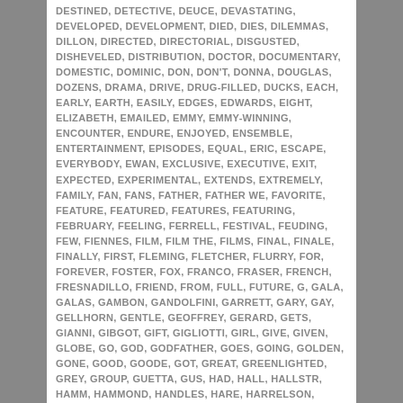DESTINED, DETECTIVE, DEUCE, DEVASTATING, DEVELOPED, DEVELOPMENT, DIED, DIES, DILEMMAS, DILLON, DIRECTED, DIRECTORIAL, DISGUSTED, DISHEVELED, DISTRIBUTION, DOCTOR, DOCUMENTARY, DOMESTIC, DOMINIC, DON, DON'T, DONNA, DOUGLAS, DOZENS, DRAMA, DRIVE, DRUG-FILLED, DUCKS, EACH, EARLY, EARTH, EASILY, EDGES, EDWARDS, EIGHT, ELIZABETH, EMAILED, EMMY, EMMY-WINNING, ENCOUNTER, ENDURE, ENJOYED, ENSEMBLE, ENTERTAINMENT, EPISODES, EQUAL, ERIC, ESCAPE, EVERYBODY, EWAN, EXCLUSIVE, EXECUTIVE, EXIT, EXPECTED, EXPERIMENTAL, EXTENDS, EXTREMELY, FAMILY, FAN, FANS, FATHER, FATHER WE, FAVORITE, FEATURE, FEATURED, FEATURES, FEATURING, FEBRUARY, FEELING, FERRELL, FESTIVAL, FEUDING, FEW, FIENNES, FILM, FILM THE, FILMS, FINAL, FINALE, FINALLY, FIRST, FLEMING, FLETCHER, FLURRY, FOR, FOREVER, FOSTER, FOX, FRANCO, FRASER, FRENCH, FRESNADILLO, FRIEND, FROM, FULL, FUTURE, G, GALA, GALAS, GAMBON, GANDOLFINI, GARRETT, GARY, GAY, GELLHORN, GENTLE, GEOFFREY, GERARD, GETS, GIANNI, GIBGOT, GIFT, GIGLIOTTI, GIRL, GIVE, GIVEN, GLOBE, GO, GOD, GODFATHER, GOES, GOING, GOLDEN, GONE, GOOD, GOODE, GOT, GREAT, GREENLIGHTED, GREY, GROUP, GUETTA, GUS, HAD, HALL, HALLSTR, HAMM, HAMMOND, HANDLES, HARE, HARRELSON,